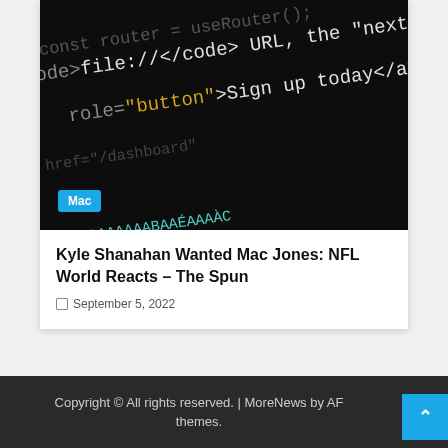[Figure (screenshot): Dark background showing HTML/code snippet with text including 'file:///code> URL, the next', 'role=button >Sign up today</a></p>' in light colored monospace font against black background. A cyan/green text row is visible at the bottom.]
Kyle Shanahan Wanted Mac Jones: NFL World Reacts – The Spun
September 5, 2022
Copyright © All rights reserved. | MoreNews by AF themes.